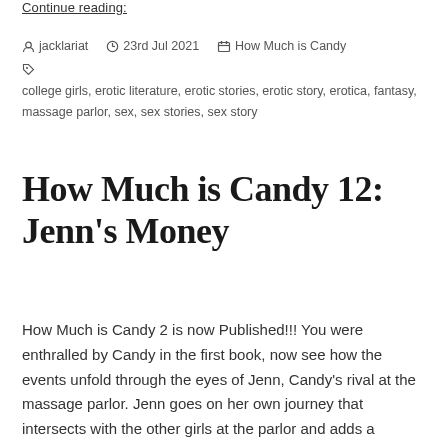Continue reading:
By jacklariat  23rd Jul 2021  How Much is Candy  college girls, erotic literature, erotic stories, erotic story, erotica, fantasy, massage parlor, sex, sex stories, sex story
How Much is Candy 12: Jenn's Money
How Much is Candy 2 is now Published!!! You were enthralled by Candy in the first book, now see how the events unfold through the eyes of Jenn, Candy's rival at the massage parlor. Jenn goes on her own journey that intersects with the other girls at the parlor and adds a